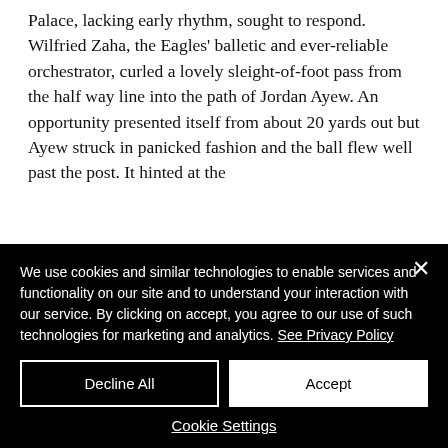Palace, lacking early rhythm, sought to respond. Wilfried Zaha, the Eagles' balletic and ever-reliable orchestrator, curled a lovely sleight-of-foot pass from the half way line into the path of Jordan Ayew. An opportunity presented itself from about 20 yards out but Ayew struck in panicked fashion and the ball flew well past the post. It hinted at the
We use cookies and similar technologies to enable services and functionality on our site and to understand your interaction with our service. By clicking on accept, you agree to our use of such technologies for marketing and analytics. See Privacy Policy
Decline All
Accept
Cookie Settings